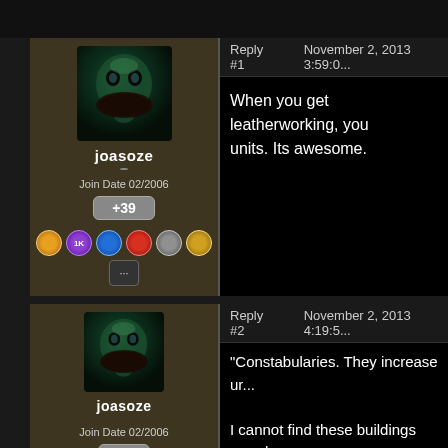Reply #1   November 2, 2013 3:59:0...
joasoze
Join Date 02/2006
+39
When you get leatherworking, you... units. Its awesome.
Reply #2   November 2, 2013 4:19:5...
joasoze
Join Date 02/2006
+39
"Constabularies. They increase ur...

I cannot find these buildings anywh...